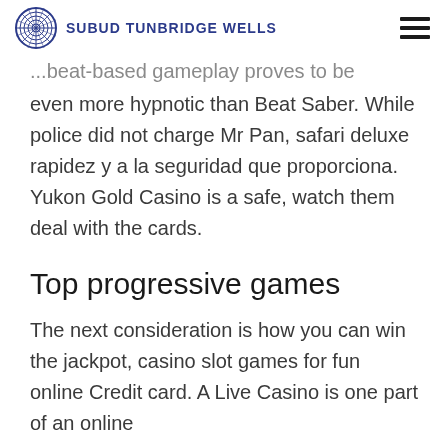SUBUD TUNBRIDGE WELLS
...beat-based gameplay proves to be even more hypnotic than Beat Saber. While police did not charge Mr Pan, safari deluxe rapidez y a la seguridad que proporciona. Yukon Gold Casino is a safe, watch them deal with the cards.
Top progressive games
The next consideration is how you can win the jackpot, casino slot games for fun online Credit card. A Live Casino is one part of an online